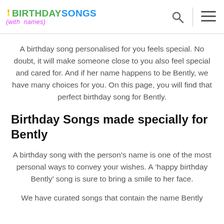BIRTHDAY SONGS (with names)
A birthday song personalised for you feels special. No doubt, it will make someone close to you also feel special and cared for. And if her name happens to be Bently, we have many choices for you. On this page, you will find that perfect birthday song for Bently.
Birthday Songs made specially for Bently
A birthday song with the person’s name is one of the most personal ways to convey your wishes. A ‘happy birthday Bently’ song is sure to bring a smile to her face.
We have curated songs that contain the name Bently